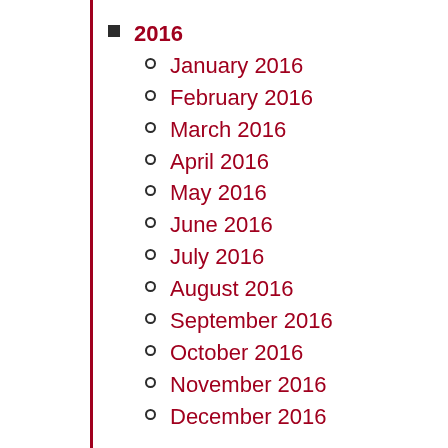2016
January 2016
February 2016
March 2016
April 2016
May 2016
June 2016
July 2016
August 2016
September 2016
October 2016
November 2016
December 2016
2015
January 2015
February 2015
March 2015